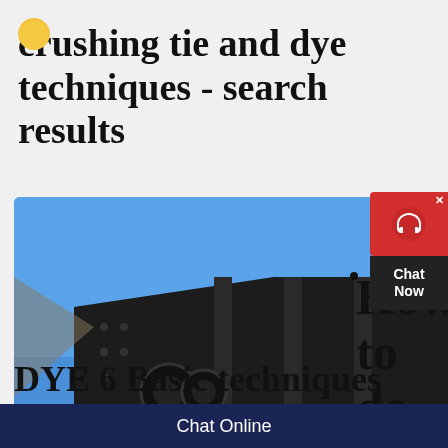crushing tie and dye techniques - search results
[Figure (photo): Large black industrial crushing/vibrating screen machine mounted on a flatbed rail car, photographed against a blue sky background.]
How
to
do
TIE
DYE 6 Basic techniques
Chat Online